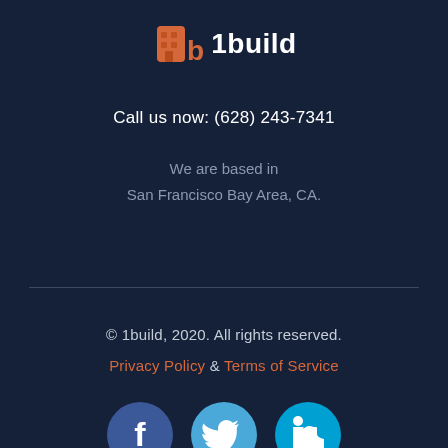[Figure (logo): 1build logo with orange building icon and white text '1build']
Call us now: (628) 243-7341
We are based in
San Francisco Bay Area, CA.
© 1build, 2020. All rights reserved.
Privacy Policy & Terms of Service
[Figure (illustration): Three social media icons: Facebook (dark blue circle with white f), Twitter (medium blue circle with white bird), LinkedIn (cyan circle with white 'in')]